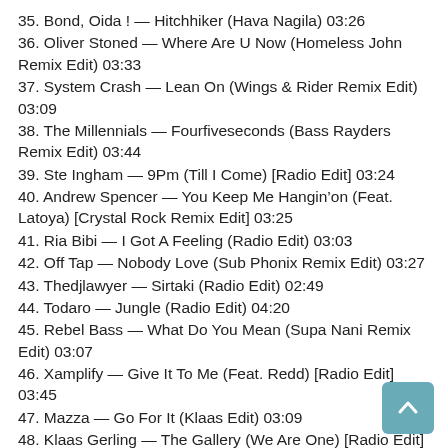35. Bond, Oida ! — Hitchhiker (Hava Nagila) 03:26
36. Oliver Stoned — Where Are U Now (Homeless John Remix Edit) 03:33
37. System Crash — Lean On (Wings & Rider Remix Edit) 03:09
38. The Millennials — Fourfiveseconds (Bass Rayders Remix Edit) 03:44
39. Ste Ingham — 9Pm (Till I Come) [Radio Edit] 03:24
40. Andrew Spencer — You Keep Me Hangin'on (Feat. Latoya) [Crystal Rock Remix Edit] 03:25
41. Ria Bibi — I Got A Feeling (Radio Edit) 03:03
42. Off Tap — Nobody Love (Sub Phonix Remix Edit) 03:27
43. Thedjlawyer — Sirtaki (Radio Edit) 02:49
44. Todaro — Jungle (Radio Edit) 04:20
45. Rebel Bass — What Do You Mean (Supa Nani Remix Edit) 03:07
46. Xamplify — Give It To Me (Feat. Redd) [Radio Edit] 03:45
47. Mazza — Go For It (Klaas Edit) 03:09
48. Klaas Gerling — The Gallery (We Are One) [Radio Edit]